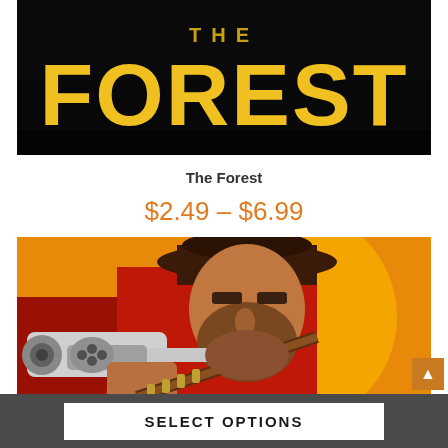[Figure (illustration): The Forest game logo — white 'THE' text above large yellow bold 'FOREST' text on a black background]
The Forest
$2.49 – $6.99
[Figure (illustration): Red Dead Redemption 2 artwork — a bearded cowboy in a hat holding a revolver pointing toward viewer, with orange/red background]
SELECT OPTIONS